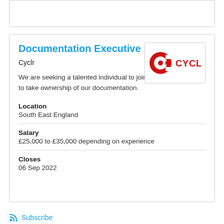Documentation Executive
Cyclr
[Figure (logo): Cyclr company logo: red circular icon with letter C and a dot, next to the text CYCLR in red]
We are seeking a talented individual to join our product team to take ownership of our documentation.
Location
South East England
Salary
£25,000 to £35,000 depending on experience
Closes
06 Sep 2022
Subscribe